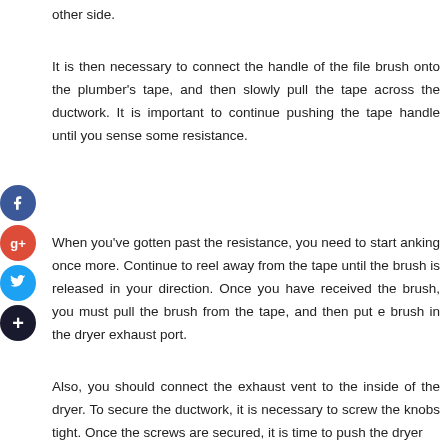other side.
It is then necessary to connect the handle of the file brush onto the plumber's tape, and then slowly pull the tape across the ductwork. It is important to continue pushing the tape handle until you sense some resistance.
When you've gotten past the resistance, you need to start anking once more. Continue to reel away from the tape until the brush is released in your direction. Once you have received the brush, you must pull the brush from the tape, and then put e brush in the dryer exhaust port.
Also, you should connect the exhaust vent to the inside of the dryer. To secure the ductwork, it is necessary to screw the knobs tight. Once the screws are secured, it is time to push the dryer